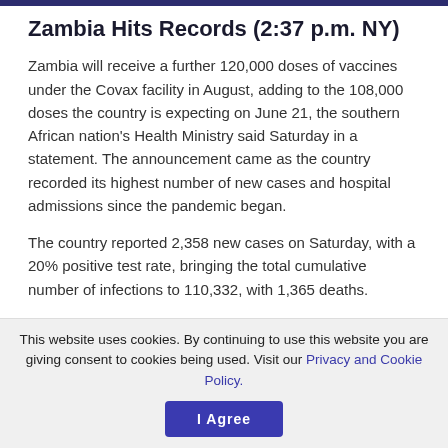Zambia Hits Records (2:37 p.m. NY)
Zambia will receive a further 120,000 doses of vaccines under the Covax facility in August, adding to the 108,000 doses the country is expecting on June 21, the southern African nation's Health Ministry said Saturday in a statement. The announcement came as the country recorded its highest number of new cases and hospital admissions since the pandemic began.
The country reported 2,358 new cases on Saturday, with a 20% positive test rate, bringing the total cumulative number of infections to 110,332, with 1,365 deaths.
Study Shows Emergency Care Rare
This website uses cookies. By continuing to use this website you are giving consent to cookies being used. Visit our Privacy and Cookie Policy.